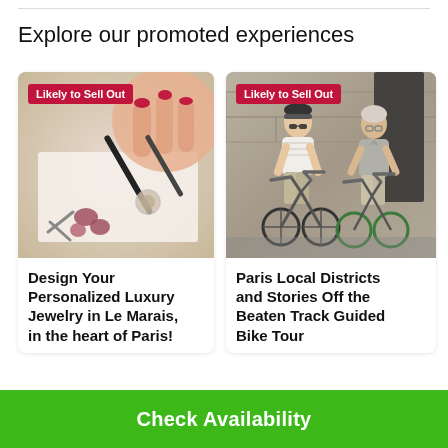Explore our promoted experiences
[Figure (photo): Close-up photo of hands with red nails using a tool to design jewelry, with small metal pieces on paper. Badge reads 'Likely to Sell Out'.]
Design Your Personalized Luxury Jewelry in Le Marais, in the heart of Paris!
[Figure (photo): Photo of two people riding bicycles on a city street. Badge reads 'Likely to Sell Out'.]
Paris Local Districts and Stories Off the Beaten Track Guided Bike Tour
Check Availability